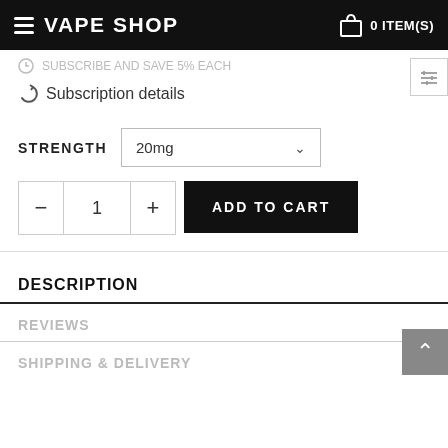VAPE SHOP 0 ITEM(S)
Subscription details
STRENGTH 20mg
1 ADD TO CART
DESCRIPTION
REVIEWS
SHIPPING & DELIVERY